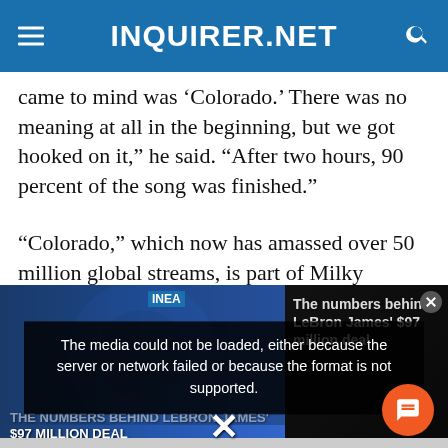INQUIRER.NET
came to mind was ‘Colorado.’ There was no meaning at all in the beginning, but we got hooked on it,” he said. “After two hours, 90 percent of the song was finished.”
“Colorado,” which now has amassed over 50 million global streams, is part of Milky Chance’s new EP “Tainted Love,” a 12-track collection of new songs, demos and covers of such hits as Dua
[Figure (screenshot): Video player overlay showing LeBron James basketball photo with error message: 'The media could not be loaded, either because the server or network failed or because the format is not supported.' Right panel shows 'The numbers behind LeBron James' $97 million deal' text. Orange chat button visible. Large X close button at bottom.]